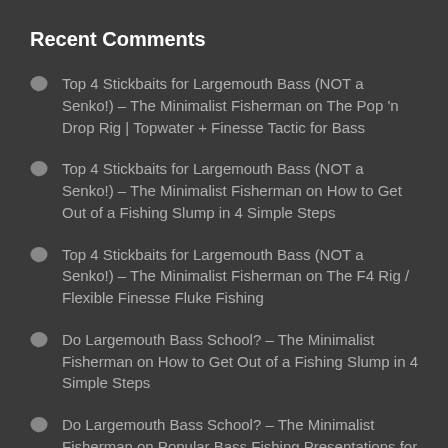Recent Comments
Top 4 Stickbaits for Largemouth Bass (NOT a Senko!) – The Minimalist Fisherman on The Pop 'n Drop Rig | Topwater + Finesse Tactic for Bass
Top 4 Stickbaits for Largemouth Bass (NOT a Senko!) – The Minimalist Fisherman on How to Get Out of a Fishing Slump in 4 Simple Steps
Top 4 Stickbaits for Largemouth Bass (NOT a Senko!) – The Minimalist Fisherman on The F4 Rig / Flexible Finesse Fluke Fishing
Do Largemouth Bass School? – The Minimalist Fisherman on How to Get Out of a Fishing Slump in 4 Simple Steps
Do Largemouth Bass School? – The Minimalist Fisherman on Popular Bass Fishing Presentations for EVERY Feeding Strategy